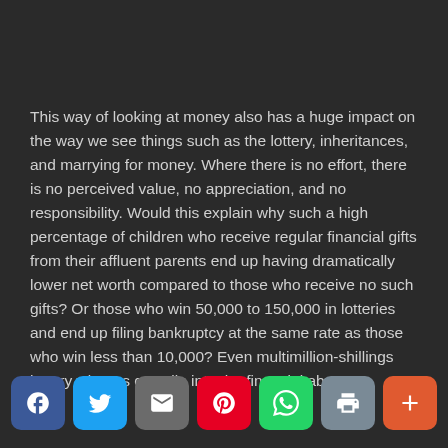This way of looking at money also has a huge impact on the way we see things such as the lottery, inheritances, and marrying for money. Where there is no effort, there is no perceived value, no appreciation, and no responsibility. Would this explain why such a high percentage of children who receive regular financial gifts from their affluent parents end up having dramatically lower net worth compared to those who receive no such gifts? Or those who win 50,000 to 150,000 in lotteries and end up filing bankruptcy at the same rate as those who win less than 10,000? Even multimillion-shillings lottery winners can slip into the financial abyss.
[Figure (other): Social sharing buttons: Facebook (blue), Twitter (light blue), Email (gray), Pinterest (red), WhatsApp (green), Print (gray-blue), More (orange-red)]